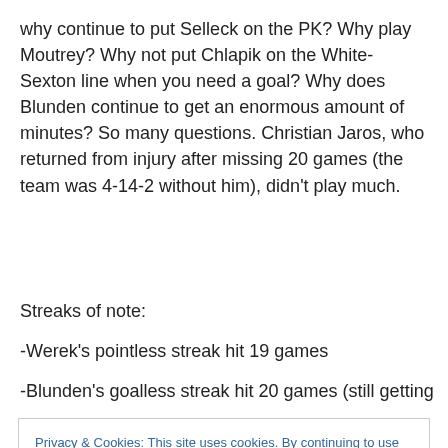why continue to put Selleck on the PK? Why play Moutrey? Why not put Chlapik on the White-Sexton line when you need a goal? Why does Blunden continue to get an enormous amount of minutes? So many questions. Christian Jaros, who returned from injury after missing 20 games (the team was 4-14-2 without him), didn't play much.
Streaks of note:
-Werek's pointless streak hit 19 games
-Blunden's goalless streak hit 20 games (still getting
Privacy & Cookies: This site uses cookies. By continuing to use this website, you agree to their use.
To find out more, including how to control cookies, see here: Cookie Policy